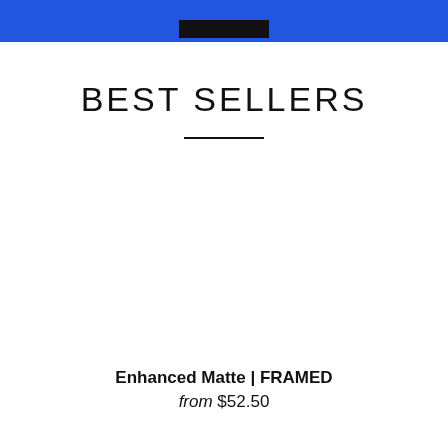BEST SELLERS
Enhanced Matte | FRAMED
from $52.50